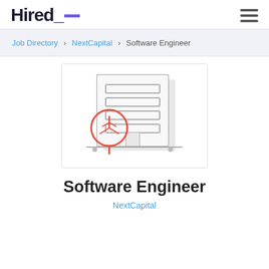Hired_
Job Directory > NextCapital > Software Engineer
[Figure (illustration): Building/office illustration with a red tree icon in front, gray building outline with horizontal window stripes and a door, on a light gray background]
Software Engineer
NextCapital